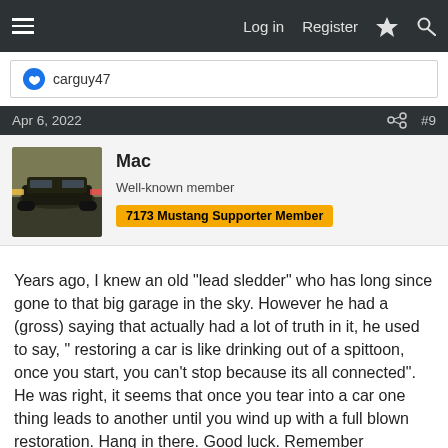Log in  Register
carguy47
Apr 6, 2022  #9
Mac
Well-known member  7173 Mustang Supporter Member
Years ago, I knew an old "lead sledder" who has long since gone to that big garage in the sky. However he had a (gross) saying that actually had a lot of truth in it, he used to say, " restoring a car is like drinking out of a spittoon, once you start, you can't stop because its all connected". He was right, it seems that once you tear into a car one thing leads to another until you wind up with a full blown restoration. Hang in there. Good luck. Remember everything does not have to be done at once.